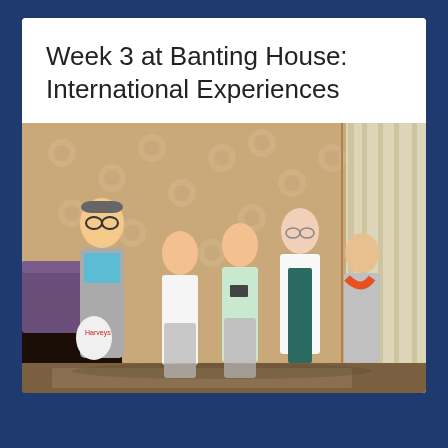Week 3 at Banting House: International Experiences
[Figure (photo): Five people posing for a group photo inside a historic house room with floral wallpaper, a dark wooden bed frame on the left, and beige curtains on the right. The group includes a young man wearing glasses and a grey hoodie, two young Asian women, a taller woman with glasses wearing a white blazer and dark teal dress, and an older Asian woman in a grey cardigan with an orange scarf.]